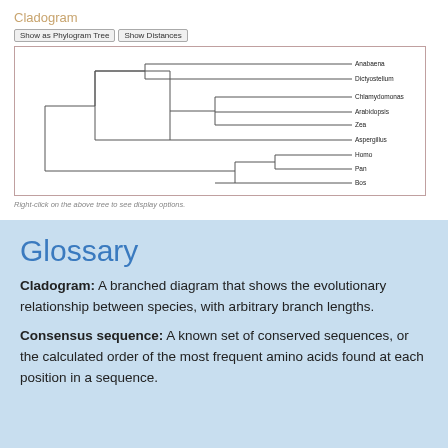Cladogram
[Figure (other): Cladogram phylogenetic tree showing species: Anabaena, Dictyostelium, Chlamydomonas, Arabidopsis, Zea, Aspergillus, Homo, Pan, Bos]
Right-click on the above tree to see display options.
Glossary
Cladogram: A branched diagram that shows the evolutionary relationship between species, with arbitrary branch lengths.
Consensus sequence: A known set of conserved sequences, or the calculated order of the most frequent amino acids found at each position in a sequence.